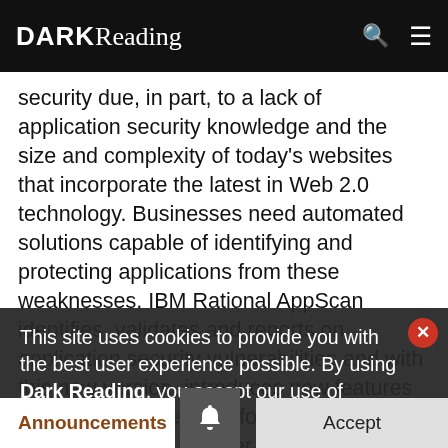DARK Reading
security due, in part, to a lack of application security knowledge and the size and complexity of today's websites that incorporate the latest in Web 2.0 technology. Businesses need automated solutions capable of identifying and protecting applications from these weaknesses. IBM Rational AppScan identifies, validates and reports on application security vulnerabilities and with this new version, introduces new features and reporting methods for security auditors while enabling a broader pool of IT roles to participate in and drive critical web application security testing.
Traditionally, testers, developers, and IT professionals have lacked the specific security knowledge needed to effectively run scans. New capabilities in IBM Rational
This site uses cookies to provide you with the best user experience possible. By using Dark Reading, you accept our use of cookies.
Accept
Announcements